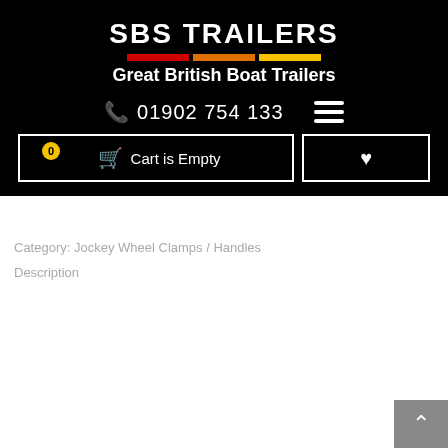[Figure (logo): SBS Trailers logo with colored bars and subtitle 'Great British Boat Trailers' on black background]
📞 01902 754 133
Cart is Empty
Category: Jockey Wheel Clamps / Handles
This website uses cookies to ensure you get the best experience on our website. Learn more
Accept
Description
Ch...